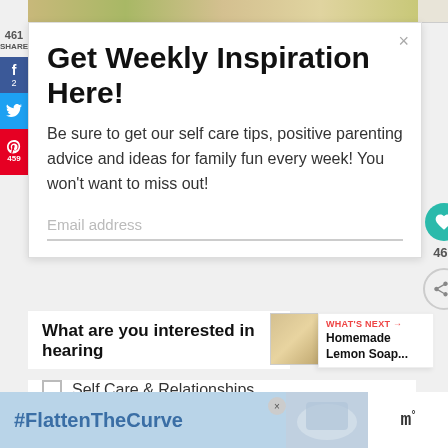[Figure (screenshot): Top decorative image strip showing foliage/food background]
Get Weekly Inspiration Here!
Be sure to get our self care tips, positive parenting advice and ideas for family fun every week! You won't want to miss out!
Email address
461 SHARES
2
459
465
What are you interested in hearing
WHAT'S NEXT → Homemade Lemon Soap...
Self Care & Relationships
#FlattenTheCurve